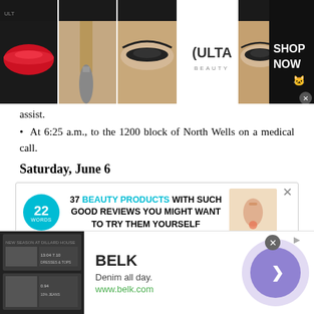[Figure (photo): Top advertisement banner showing ULTA Beauty ad with makeup images (lips, makeup brush, eyes) and a 'SHOP NOW' call to action]
assist.
• At 6:25 a.m., to the 1200 block of North Wells on a medical call.
Saturday, June 6
[Figure (screenshot): Advertisement: 22 Words - 37 BEAUTY PRODUCTS WITH SUCH GOOD REVIEWS YOU MIGHT WANT TO TRY THEM YOURSELF]
[Figure (screenshot): Bottom advertisement for BELK - Denim all day. www.belk.com with a circular navigation button]